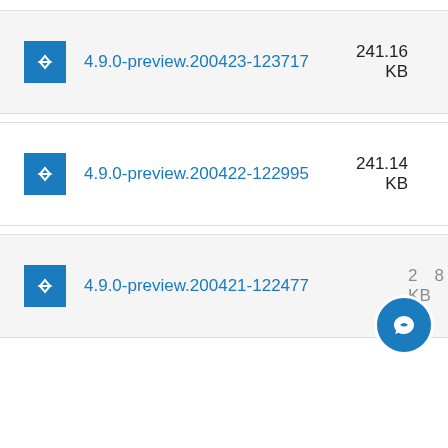4.9.0-preview.200423-123717 241.16 KB
4.9.0-preview.200422-122995 241.14 KB
4.9.0-preview.200421-122477